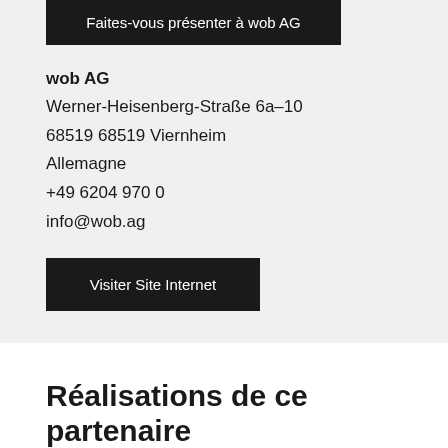Faites-vous présenter à wob AG
wob AG
Werner-Heisenberg-Straße 6a-10
68519 68519 Viernheim
Allemagne
+49 6204 970 0
info@wob.ag
Visiter Site Internet
Réalisations de ce partenaire Pimcore